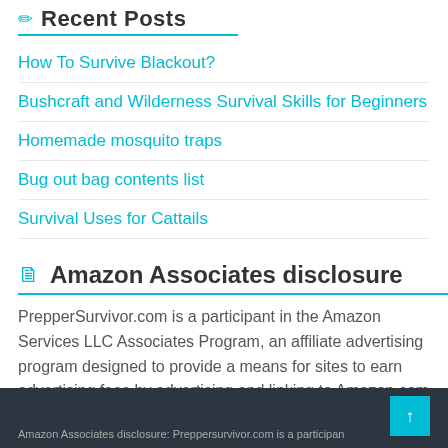Recent Posts
How To Survive Blackout?
Bushcraft and Wilderness Survival Skills for Beginners
Homemade mosquito traps
Bug out bag contents list
Survival Uses for Cattails
Amazon Associates disclosure
PrepperSurvivor.com is a participant in the Amazon Services LLC Associates Program, an affiliate advertising program designed to provide a means for sites to earn advertising fees by advertising and linking to Amazon.com
Amazon Associates disclosure: Preppersurvivor.com is a participan...